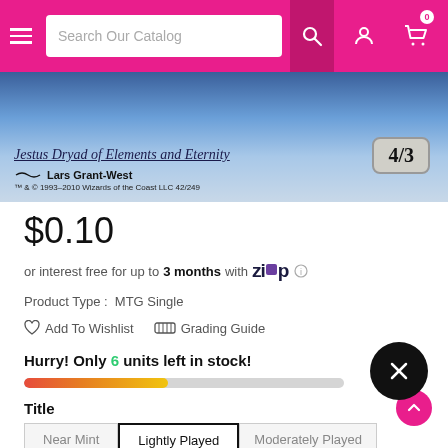Search Our Catalog
[Figure (photo): Bottom portion of a Magic: The Gathering card showing Lars Grant-West art with blue/white elements, power/toughness 4/3, and copyright 1993-2010 Wizards of the Coast LLC 42/249]
$0.10
or interest free for up to 3 months with Zip
Product Type : MTG Single
Add To Wishlist   Grading Guide
Hurry! Only 6 units left in stock!
Title
Near Mint   Lightly Played   Moderately Played